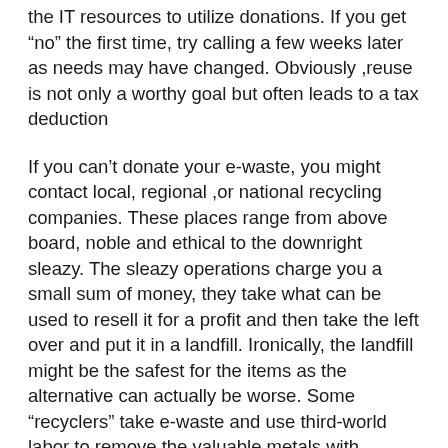the IT resources to utilize donations. If you get “no” the first time, try calling a few weeks later as needs may have changed. Obviously ,reuse is not only a worthy goal but often leads to a tax deduction
If you can’t donate your e-waste, you might contact local, regional ,or national recycling companies. These places range from above board, noble and ethical to the downright sleazy. The sleazy operations charge you a small sum of money, they take what can be used to resell it for a profit and then take the left over and put it in a landfill. Ironically, the landfill might be the safest for the items as the alternative can actually be worse. Some “recyclers” take e-waste and use third-world labor to remove the valuable metals with techniques that are both dangerous to humans and the environment. These operations make sneaker sweatshops look like a walk in the park, pardon the pun. In fact, the Basel Action Network, www.ban.org, found computers from the Kansas Department of Aging in Lagos, Nigeria as well as various confidential data on donated hard drives .
To make sure your recycled computers end up in the right